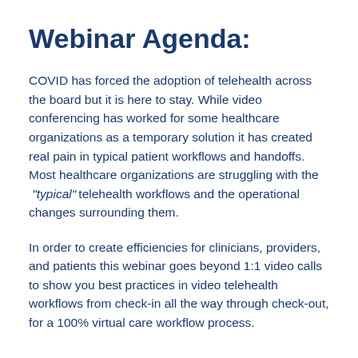Webinar Agenda:
COVID has forced the adoption of telehealth across the board but it is here to stay. While video conferencing has worked for some healthcare organizations as a temporary solution it has created real pain in typical patient workflows and handoffs. Most healthcare organizations are struggling with the “typical” telehealth workflows and the operational changes surrounding them.
In order to create efficiencies for clinicians, providers, and patients this webinar goes beyond 1:1 video calls to show you best practices in video telehealth workflows from check-in all the way through check-out, for a 100% virtual care workflow process.